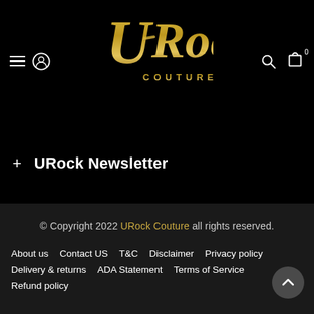[Figure (logo): URock Couture gold stylized logo text with COUTURE subtitle on black background]
+ URock Newsletter
© Copyright 2022 URock Couture all rights reserved.
About us   Contact US   T&C   Disclaimer   Privacy policy   Delivery & returns   ADA Statement   Terms of Service   Refund policy